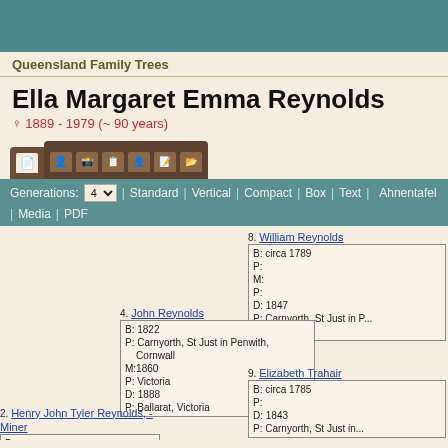[Figure (other): Teal/dark cyan header banner image]
Queensland Family Trees
Ella Margaret Emma Reynolds
♀ 1889 - 1979  (~ 90 years)
[Figure (screenshot): Navigation tab bar with icons for different views (individual, family, tree, etc.) and a toolbar with Generations: 4 dropdown, Standard, Vertical, Compact, Box, Text, Ahnentafel, Media, PDF options]
8. William Reynolds
B: circa 1789
P:
M:
P:
D: 1847
P: Carnyorth, St Just in P... Cornwall
4. John Reynolds
B: 1822
P: Carnyorth, St Just in Penwith, Cornwall
M:1860
P: Victoria
D: 1888
P: Ballarat, Victoria
9. Elizabeth Trahair
B: circa 1785
P:
D: 1843
P: Carnyorth, St Just in...
2. Henry John Tyler Reynolds, - Miner